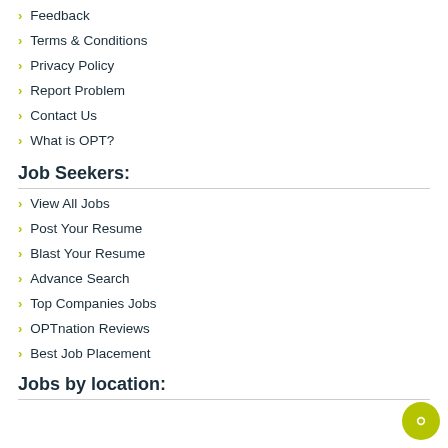Feedback
Terms & Conditions
Privacy Policy
Report Problem
Contact Us
What is OPT?
Job Seekers:
View All Jobs
Post Your Resume
Blast Your Resume
Advance Search
Top Companies Jobs
OPTnation Reviews
Best Job Placement
Jobs by location: